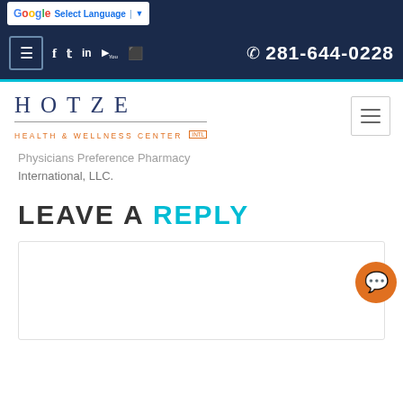Select Language | ▼
☰ f t in You ⧉ ☎ 281-644-0228
[Figure (logo): Hotze Health & Wellness Center INTL logo with serif lettering in navy blue and orange subtitle]
Physicians Preference Pharmacy International, LLC.
LEAVE A REPLY
[Reply form text area]